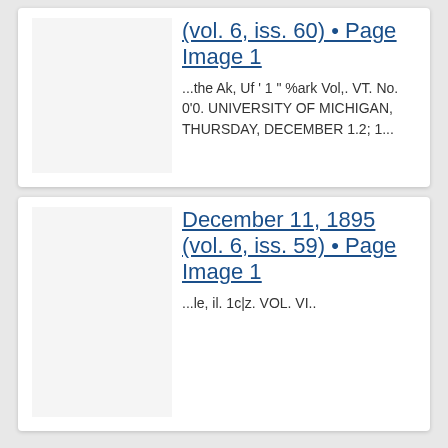(vol. 6, iss. 60) • Page Image 1
...the Ak, Uf ' 1 " %ark Vol,. VT. No. 0'0. UNIVERSITY OF MICHIGAN, THURSDAY, DECEMBER 1.2; 1...
December 11, 1895 (vol. 6, iss. 59) • Page Image 1
...le, il. 1c|z. VOL. VI..